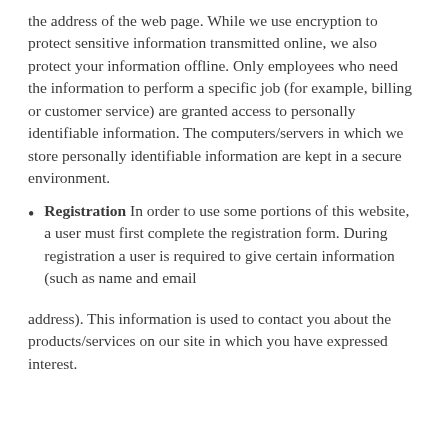the address of the web page. While we use encryption to protect sensitive information transmitted online, we also protect your information offline. Only employees who need the information to perform a specific job (for example, billing or customer service) are granted access to personally identifiable information. The computers/servers in which we store personally identifiable information are kept in a secure environment.
Registration In order to use some portions of this website, a user must first complete the registration form. During registration a user is required to give certain information (such as name and email
address). This information is used to contact you about the products/services on our site in which you have expressed interest.